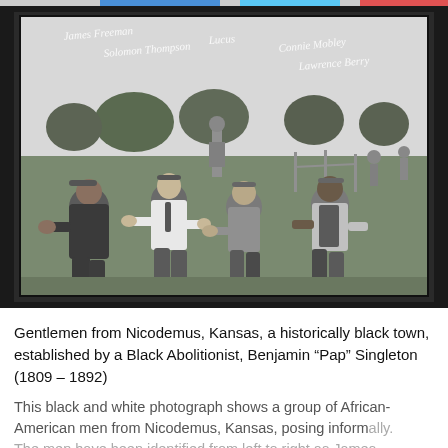[Figure (photo): A black and white photograph of a group of African-American men from Nicodemus, Kansas, posing informally outdoors in a grassy field. Handwritten names are visible across the top of the photograph identifying the subjects from left to right as James Freeman, Solomon Thompson, Lucas Bells, Connie Mobley, Lawrence Berry.]
Gentlemen from Nicodemus, Kansas, a historically black town, established by a Black Abolitionist, Benjamin “Pap” Singleton (1809 – 1892)
This black and white photograph shows a group of African-American men from Nicodemus, Kansas, posing informally. The men have been identified from left to right as James Freeman, Solomon Thompson, Lucas Bells, Connie Mobley,